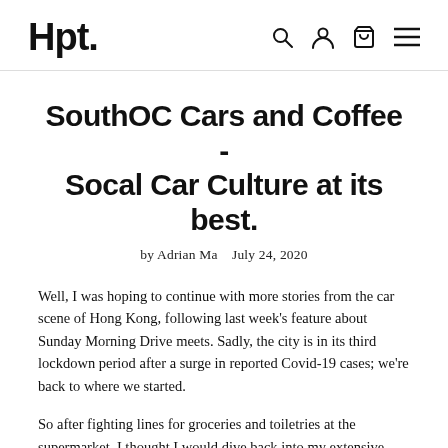Hpt.
SouthOC Cars and Coffee - Socal Car Culture at its best.
by Adrian Ma   July 24, 2020
Well, I was hoping to continue with more stories from the car scene of Hong Kong, following last week's feature about Sunday Morning Drive meets. Sadly, the city is in its third lockdown period after a surge in reported Covid-19 cases; we're back to where we started.
So after fighting lines for groceries and toiletries at the supermarket,  I thought I would dive back into my extensive archive of past events I have attended before this year went into a tailspin. You'll be surprised by how many photos I have taken from previous events and trips